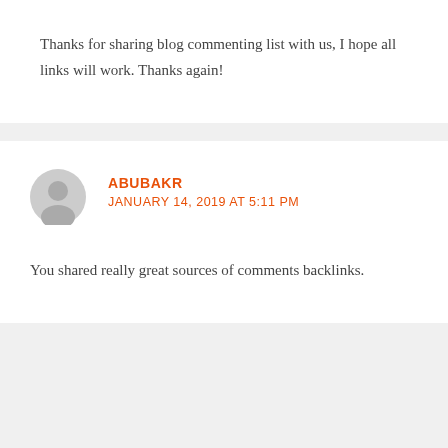Thanks for sharing blog commenting list with us, I hope all links will work. Thanks again!
ABUBAKR
JANUARY 14, 2019 AT 5:11 PM
You shared really great sources of comments backlinks.